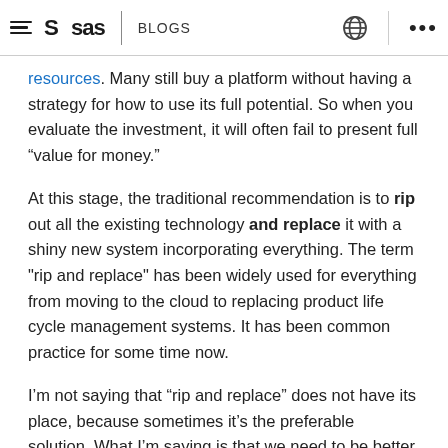SAS | BLOGS
resources. Many still buy a platform without having a strategy for how to use its full potential. So when you evaluate the investment, it will often fail to present full “value for money.”
At this stage, the traditional recommendation is to rip out all the existing technology and replace it with a shiny new system incorporating everything. The term "rip and replace" has been widely used for everything from moving to the cloud to replacing product life cycle management systems. It has been common practice for some time now.
I’m not saying that “rip and replace” does not have its place, because sometimes it’s the preferable solution. What I’m saying is that we need to be better at